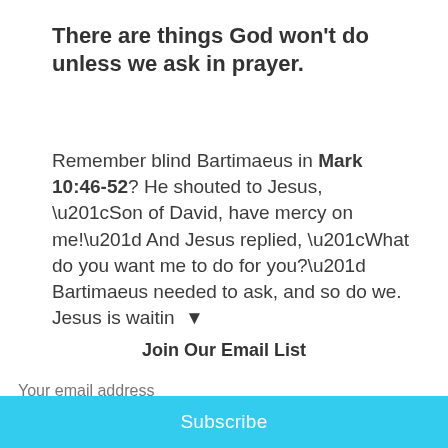There are things God won't do unless we ask in prayer.
Remember blind Bartimaeus in Mark 10:46-52? He shouted to Jesus, “Son of David, have mercy on me!” And Jesus replied, “What do you want me to do for you?” Bartimaeus needed to ask, and so do we. Jesus is waitin ▼
Join Our Email List
Your email address
Subscribe